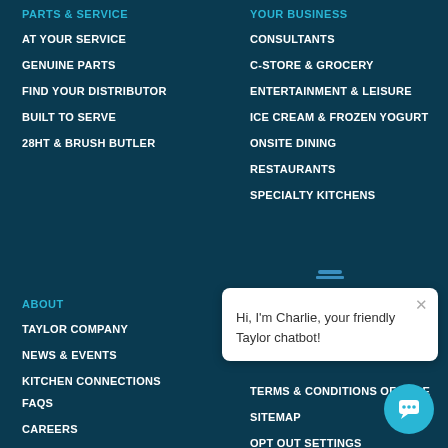PARTS & SERVICE
AT YOUR SERVICE
GENUINE PARTS
FIND YOUR DISTRIBUTOR
BUILT TO SERVE
28HT & BRUSH BUTLER
YOUR BUSINESS
CONSULTANTS
C-STORE & GROCERY
ENTERTAINMENT & LEISURE
ICE CREAM & FROZEN YOGURT
ONSITE DINING
RESTAURANTS
SPECIALTY KITCHENS
ABOUT
TAYLOR COMPANY
NEWS & EVENTS
KITCHEN CONNECTIONS
FAQS
CAREERS
CONTACT US
TERMS & CONDITIONS OF SALE
SITEMAP
OPT OUT SETTINGS
[Figure (screenshot): Charlie chatbot popup: Hi, I'm Charlie, your friendly Taylor chatbot!]